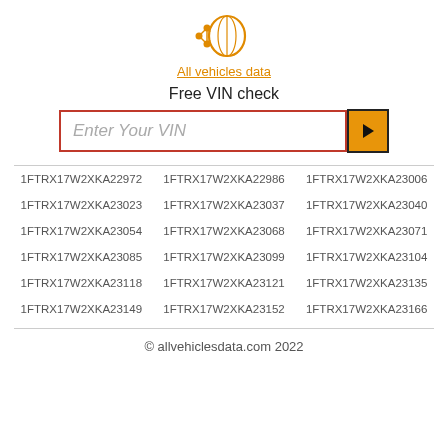[Figure (logo): All vehicles data logo: a network/brain icon in orange above the text 'All vehicles data' in orange with underline]
Free VIN check
[Figure (other): Search bar with placeholder 'Enter Your VIN' outlined in red and an orange submit button with right arrow]
1FTRX17W2XKA22972
1FTRX17W2XKA22986
1FTRX17W2XKA23006
1FTRX17W2XKA23023
1FTRX17W2XKA23037
1FTRX17W2XKA23040
1FTRX17W2XKA23054
1FTRX17W2XKA23068
1FTRX17W2XKA23071
1FTRX17W2XKA23085
1FTRX17W2XKA23099
1FTRX17W2XKA23104
1FTRX17W2XKA23118
1FTRX17W2XKA23121
1FTRX17W2XKA23135
1FTRX17W2XKA23149
1FTRX17W2XKA23152
1FTRX17W2XKA23166
© allvehiclesdata.com 2022